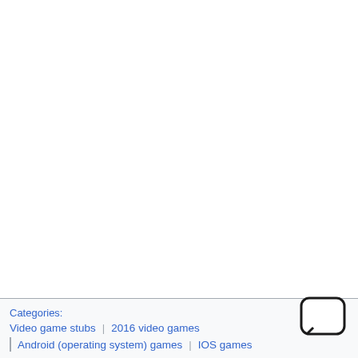Categories: Video game stubs | 2016 video games | Android (operating system) games | IOS games